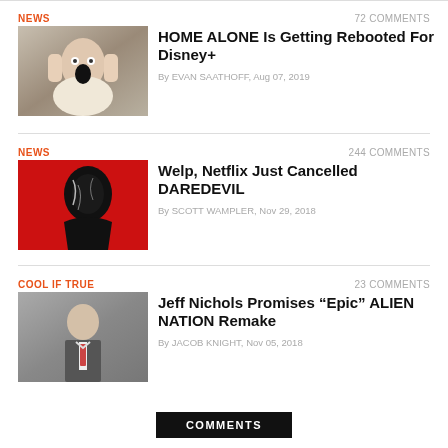NEWS
72 COMMENTS
[Figure (photo): Young boy with hands on cheeks, mouth open in surprise — Home Alone movie still]
HOME ALONE Is Getting Rebooted For Disney+
By EVAN SAATHOFF, Aug 07, 2019
NEWS
244 COMMENTS
[Figure (photo): Daredevil character in black costume on red background — Daredevil show image]
Welp, Netflix Just Cancelled DAREDEVIL
By SCOTT WAMPLER, Nov 29, 2018
COOL IF TRUE
23 COMMENTS
[Figure (photo): Man in suit looking serious — Alien Nation movie still]
Jeff Nichols Promises “Epic” ALIEN NATION Remake
By JACOB KNIGHT, Nov 05, 2018
COMMENTS